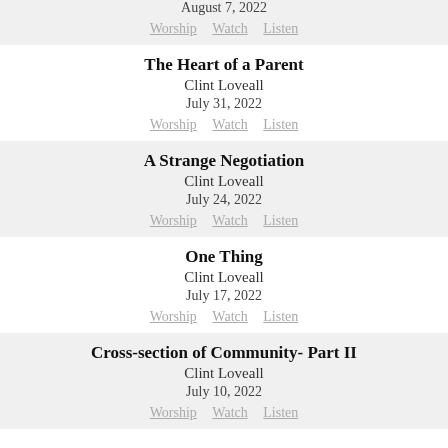August 7, 2022
Worship  Watch  Listen
The Heart of a Parent
Clint Loveall
July 31, 2022
Worship  Watch  Listen
A Strange Negotiation
Clint Loveall
July 24, 2022
Worship  Watch  Listen
One Thing
Clint Loveall
July 17, 2022
Worship  Watch  Listen
Cross-section of Community- Part II
Clint Loveall
July 10, 2022
Worship  Watch  Listen